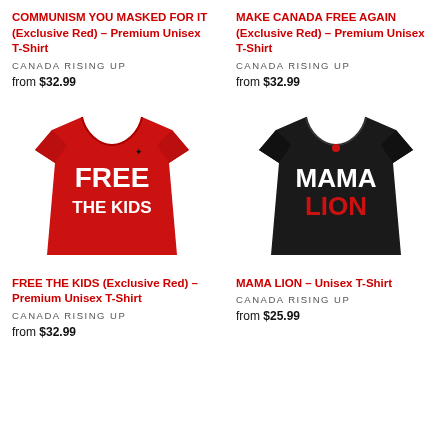COMMUNISM YOU MASKED FOR IT (Exclusive Red) – Premium Unisex T-Shirt
CANADA RISING UP
from $32.99
MAKE CANADA FREE AGAIN (Exclusive Red) – Premium Unisex T-Shirt
CANADA RISING UP
from $32.99
[Figure (photo): Red t-shirt with white bold text FREE THE KIDS and small maple leaf logo]
[Figure (photo): Black t-shirt with white text MAMA and red text LION and small red maple leaf logo]
FREE THE KIDS (Exclusive Red) – Premium Unisex T-Shirt
CANADA RISING UP
from $32.99
MAMA LION – Unisex T-Shirt
CANADA RISING UP
from $25.99